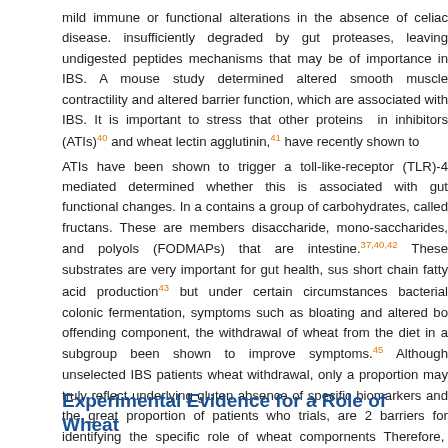mild immune or functional alterations in the absence of celiac disease. Gluten is insufficiently degraded by gut proteases, leaving undigested peptides that may trigger mechanisms that may be of importance in IBS. A mouse study determined that gluten causes altered smooth muscle contractility and altered barrier function, which are symptoms associated with IBS. It is important to stress that other proteins in wheat, such as inhibitors (ATIs)40 and wheat lectin agglutinin,41 have recently shown to ATIs have been shown to trigger a toll-like-receptor (TLR)-4 mediated response, but have not determined whether this is associated with gut functional changes. In addition, wheat also contains a group of carbohydrates, called fructans. These are members of fermentable, disaccharide, mono-saccharides, and polyols (FODMAPs) that are absorbed in the small intestine.37,40,42 These substrates are very important for gut health, sustaining microbiota and short chain fatty acid production43 but under certain circumstances such as dysbiosis and bacterial colonic fermentation, symptoms such as bloating and altered bowel habits. As the offending component, the withdrawal of wheat from the diet in a subgroup of IBS patients has been shown to improve symptoms.45 Although unselected IBS patients may benefit from wheat withdrawal, only a proportion may truly reflect underlying gluten sensitivity. The absence of specific biomarkers and the great proportion of patients who drop out of trials, are 2 barriers for identifying the specific role of wheat components in IBS. Therefore, double-blind-placebo-controlled-crossover (DBPCC) trials are needed to assess whether wheat and its fractions are involved in IBS symptom induction.50
Experimental Evidence for a Role of Wheat